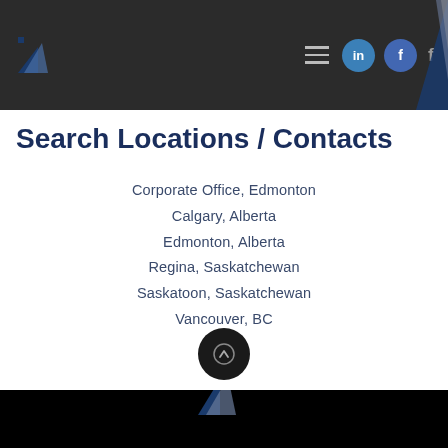Navigation header with logo and social icons
Search Locations / Contacts
Corporate Office, Edmonton
Calgary, Alberta
Edmonton, Alberta
Regina, Saskatchewan
Saskatoon, Saskatchewan
Vancouver, BC
Winnipeg, Manitoba
Footer with company logo